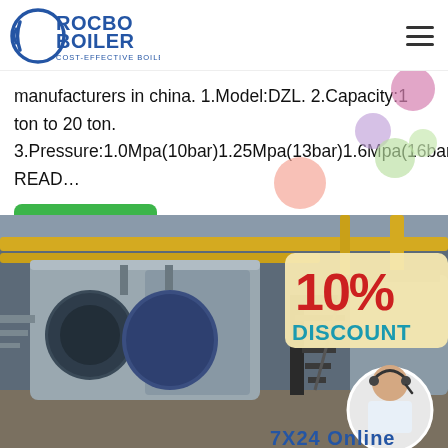[Figure (logo): Rocbo Boiler logo — cost-effective boiler supplier]
manufacturers in china. 1.Model:DZL. 2.Capacity:1 ton to 20 ton. 3.Pressure:1.0Mpa(10bar)1.25Mpa(13bar)1.6Mpa(16bar) READ…
Get Price
[Figure (photo): Industrial boiler manufacturing facility interior showing large boilers, yellow pipes, stairs, and a 10% DISCOUNT overlay banner with a customer service representative photo and '7X24 Online' text at bottom]